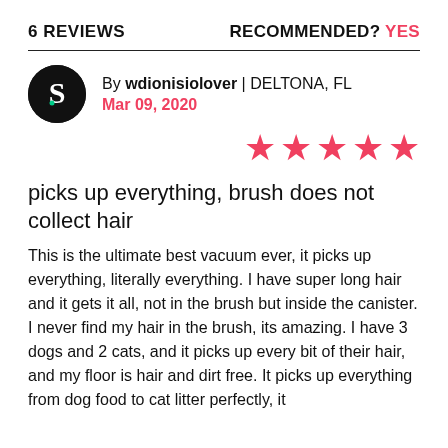6 REVIEWS    RECOMMENDED? YES
By wdionisiolover | DELTONA, FL
Mar 09, 2020
[Figure (other): 5 red stars rating]
picks up everything, brush does not collect hair
This is the ultimate best vacuum ever, it picks up everything, literally everything. I have super long hair and it gets it all, not in the brush but inside the canister. I never find my hair in the brush, its amazing. I have 3 dogs and 2 cats, and it picks up every bit of their hair, and my floor is hair and dirt free. It picks up everything from dog food to cat litter perfectly, it